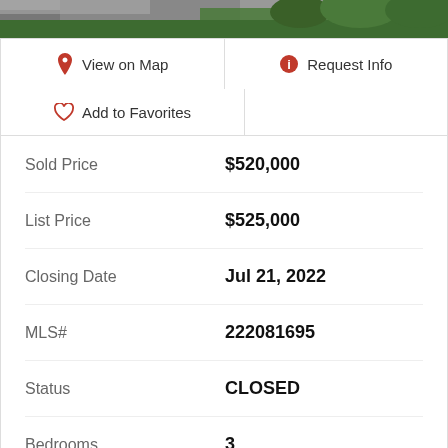[Figure (photo): Outdoor photo strip showing pavement and green foliage at top of page]
View on Map
Request Info
Add to Favorites
| Field | Value |
| --- | --- |
| Sold Price | $520,000 |
| List Price | $525,000 |
| Closing Date | Jul 21, 2022 |
| MLS# | 222081695 |
| Status | CLOSED |
| Bedrooms | 3 |
| Bathrooms | 2 |